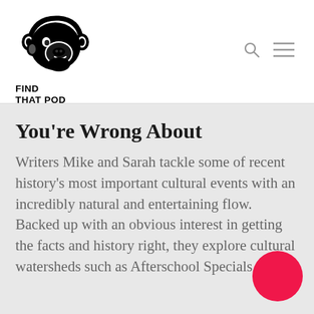[Figure (logo): Find That Pod logo: black silhouette of a monkey/chimpanzee wearing headphones, facing right, with bold text 'FIND THAT POD' below]
You're Wrong About
Writers Mike and Sarah tackle some of recent history's most important cultural events with an incredibly natural and entertaining flow. Backed up with an obvious interest in getting the facts and history right, they explore cultural watersheds such as Afterschool Specials, The